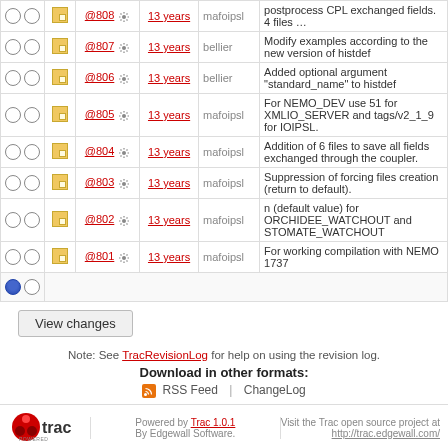|  |  |  | Rev | Age | Author | Log Message |
| --- | --- | --- | --- | --- | --- | --- |
| ○ | ○ | ■ | @808 ⚙ | 13 years | mafoipsl | postprocess CPL exchanged fields. 4 files … |
| ○ | ○ | ■ | @807 ⚙ | 13 years | bellier | Modify examples according to the new version of histdef |
| ○ | ○ | ■ | @806 ⚙ | 13 years | bellier | Added optional argument "standard_name" to histdef |
| ○ | ○ | ■ | @805 ⚙ | 13 years | mafoipsl | For NEMO_DEV use 51 for XMLIO_SERVER and tags/v2_1_9 for IOIPSL. |
| ○ | ○ | ■ | @804 ⚙ | 13 years | mafoipsl | Addition of 6 files to save all fields exchanged through the coupler. |
| ○ | ○ | ■ | @803 ⚙ | 13 years | mafoipsl | Suppression of forcing files creation (return to default). |
| ○ | ○ | ■ | @802 ⚙ | 13 years | mafoipsl | n (default value) for ORCHIDEE_WATCHOUT and STOMATE_WATCHOUT |
| ○ | ○ | ■ | @801 ⚙ | 13 years | mafoipsl | For working compilation with NEMO 1737 |
| ● | ○ |  |  |  |  |  |
View changes
Note: See TracRevisionLog for help on using the revision log.
Download in other formats:
RSS Feed | ChangeLog
Powered by Trac 1.0.1 By Edgewall Software. Visit the Trac open source project at http://trac.edgewall.com/